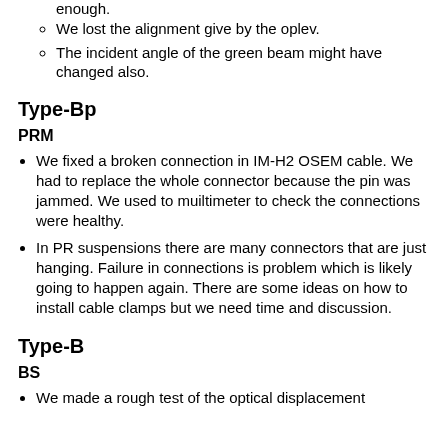enough.
We lost the alignment give by the oplev.
The incident angle of the green beam might have changed also.
Type-Bp
PRM
We fixed a broken connection in IM-H2 OSEM cable. We had to replace the whole connector because the pin was jammed. We used to muiltimeter to check the connections were healthy.
In PR suspensions there are many connectors that are just hanging. Failure in connections is problem which is likely going to happen again. There are some ideas on how to install cable clamps but we need time and discussion.
Type-B
BS
We made a rough test of the optical displacement